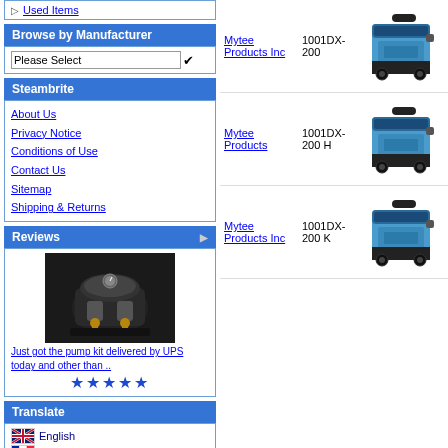Used Items
Browse by Manufacturer
Please Select
Steambrite
About Us
Privacy Notice
Conditions of Use
Contact Us
Sitemap
Shipping & Returns
Reviews
[Figure (photo): Pump kit product photo]
Just got the pump kit delivered by UPS today and other than ..
★★★★★
Translate
English
French
Spanish
German
Italian
Mytee Products Inc  1001DX-200
[Figure (photo): Mytee 1001DX-200 carpet cleaning machine, blue]
Mytee Products  1001DX-200 H
[Figure (photo): Mytee 1001DX-200 H carpet cleaning machine, blue]
Mytee Products Inc  1001DX-200 K
[Figure (photo): Mytee 1001DX-200 K carpet cleaning machine, blue]